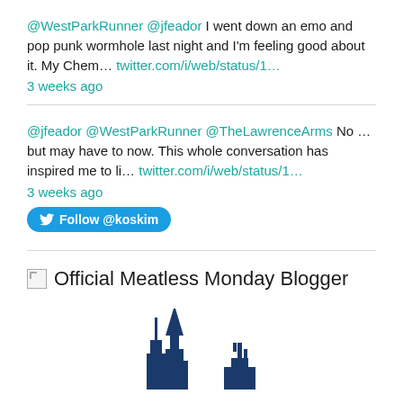@WestParkRunner @jfeador I went down an emo and pop punk wormhole last night and I'm feeling good about it. My Chem… twitter.com/i/web/status/1… 3 weeks ago
@jfeador @WestParkRunner @TheLawrenceArms No … but may have to now. This whole conversation has inspired me to li… twitter.com/i/web/status/1… 3 weeks ago
Follow @koskim
[Figure (illustration): Official Meatless Monday Blogger badge with broken image icon, followed by blue city skyline silhouette showing tall buildings]